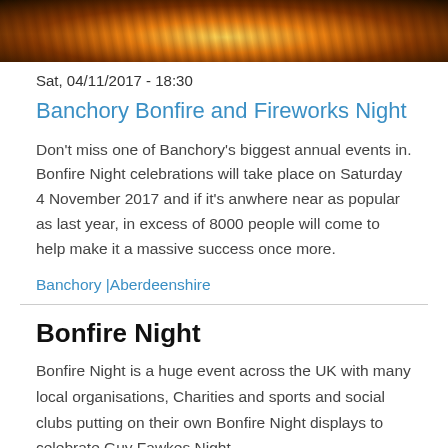[Figure (photo): Bonfire with bright flames and sparks against dark background]
Sat, 04/11/2017 - 18:30
Banchory Bonfire and Fireworks Night
Don't miss one of Banchory's biggest annual events in. Bonfire Night celebrations will take place on Saturday 4 November 2017 and if it's anwhere near as popular as last year, in excess of 8000 people will come to help make it a massive success once more.
Banchory |Aberdeenshire
Bonfire Night
Bonfire Night is a huge event across the UK with many local organisations, Charities and sports and social clubs putting on their own Bonfire Night displays to celebrate Guy Fawkes Night.
Bonfire Night has also become synonymous with...